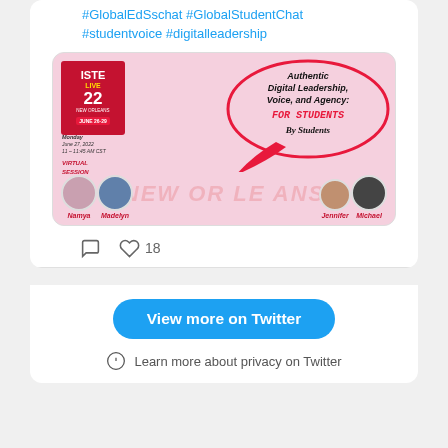#GlobalEdSschat #GlobalStudentChat #studentvoice #digitalleadership
[Figure (photo): ISTE Live 22 conference promotional image for a virtual session titled 'Authentic Digital Leadership, Voice, and Agency: FOR STUDENTS By Students' on Monday June 27, 2022, 11-11:45 AM CST. Features speakers named Namya, Madelyn, Jennifer, and Michael with circular profile photos.]
18
View more on Twitter
Learn more about privacy on Twitter